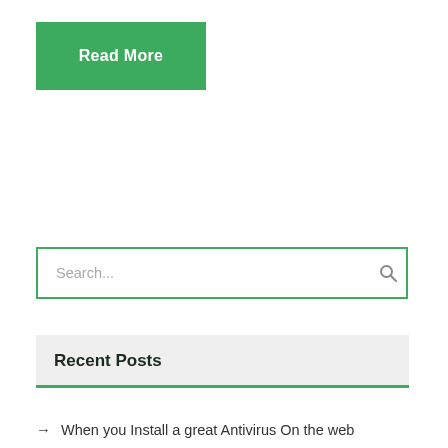Read More
Search...
Recent Posts
When you Install a great Antivirus On the web